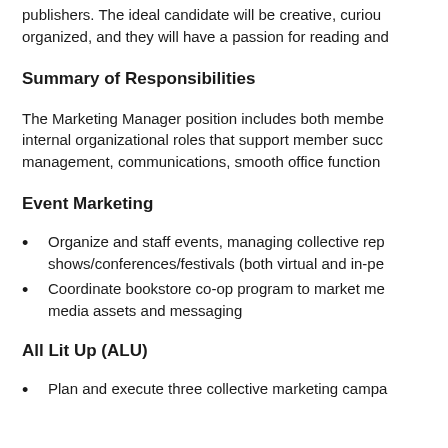publishers. The ideal candidate will be creative, curious, organized, and they will have a passion for reading and
Summary of Responsibilities
The Marketing Manager position includes both member internal organizational roles that support member success management, communications, smooth office function
Event Marketing
Organize and staff events, managing collective rep shows/conferences/festivals (both virtual and in-pe
Coordinate bookstore co-op program to market me media assets and messaging
All Lit Up (ALU)
Plan and execute three collective marketing campa